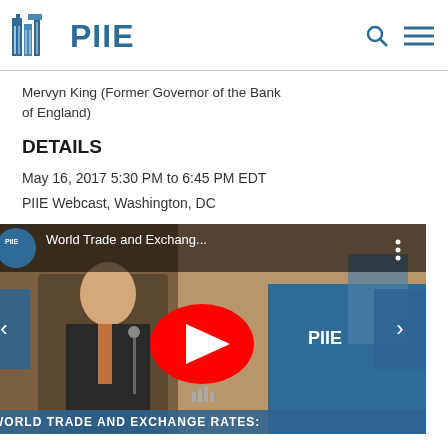PIIE
Mervyn King (Former Governor of the Bank of England)
DETAILS
May 16, 2017 5:30 PM to 6:45 PM EDT
PIIE Webcast, Washington, DC
[Figure (screenshot): YouTube video embed showing a speaker at a podium with PIIE branding. Title reads 'World Trade and Exchang...' with a red play button overlay. Bottom bar reads 'WORLD TRADE AND EXCHANGE RATES:']